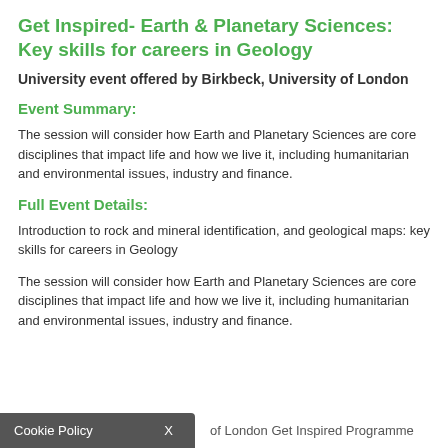Get Inspired- Earth & Planetary Sciences: Key skills for careers in Geology
University event offered by Birkbeck, University of London
Event Summary:
The session will consider how Earth and Planetary Sciences are core disciplines that impact life and how we live it, including humanitarian and environmental issues, industry and finance.
Full Event Details:
Introduction to rock and mineral identification, and geological maps: key skills for careers in Geology
The session will consider how Earth and Planetary Sciences are core disciplines that impact life and how we live it, including humanitarian and environmental issues, industry and finance.
Cookie Policy  X   ...of London Get Inspired Programme